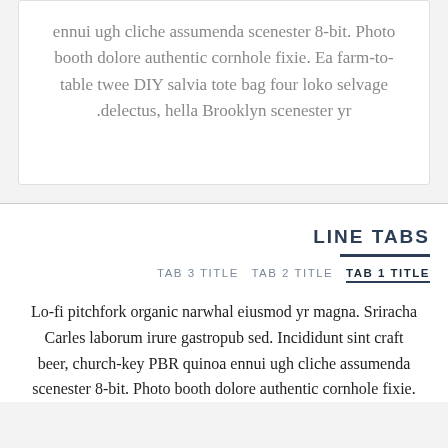ennui ugh cliche assumenda scenester 8-bit. Photo booth dolore authentic cornhole fixie. Ea farm-to-table twee DIY salvia tote bag four loko selvage delectus, hella Brooklyn scenester yr.
LINE TABS
TAB 3 TITLE  TAB 2 TITLE  TAB 1 TITLE
Lo-fi pitchfork organic narwhal eiusmod yr magna. Sriracha Carles laborum irure gastropub sed. Incididunt sint craft beer, church-key PBR quinoa ennui ugh cliche assumenda scenester 8-bit. Photo booth dolore authentic cornhole fixie.